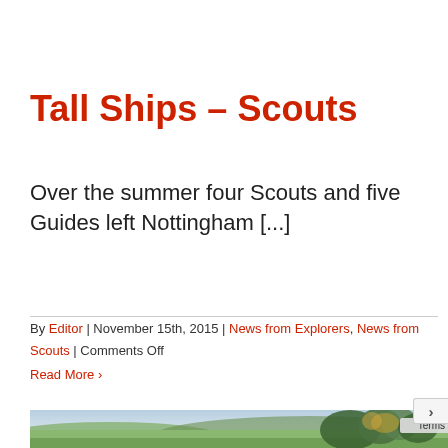Tall Ships – Scouts
Over the summer four Scouts and five Guides left Nottingham [...]
By Editor | November 15th, 2015 | News from Explorers, News from Scouts | Comments Off
Read More >
[Figure (photo): Aerial or elevated landscape photo showing green fields, trees with autumn foliage, and rolling countryside, partially visible at the bottom of the page.]